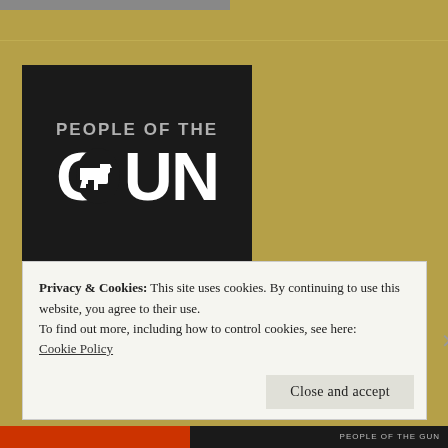[Figure (logo): People of the Gun logo — black background with large white text 'GUN' where the letter O contains a handgun silhouette, and smaller gray text 'PEOPLE OF THE' above]
Privacy & Cookies: This site uses cookies. By continuing to use this website, you agree to their use.
To find out more, including how to control cookies, see here: Cookie Policy
Close and accept